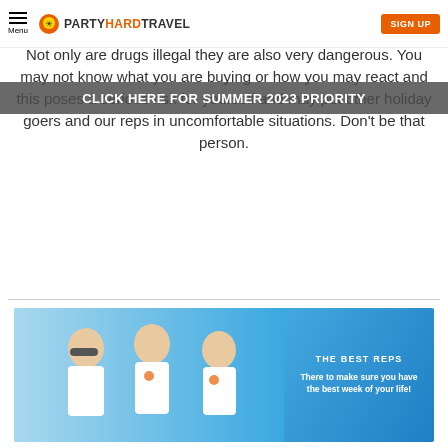Menu | PARTYHARDTRAVEL | SIGN UP
CLICK HERE FOR SUMMER 2023 PRIORITY
Not only are drugs illegal they are also very dangerous. You may not know what you are buying or how you may react and this poses a serious risk for yourself and may put other holiday goers and our reps in uncomfortable situations. Don't be that person.
[Figure (photo): Three smiling travel reps in white uniforms standing together against a blue background, with text overlay: THE BEST REPS — There to make sure you have the best week of your life!]